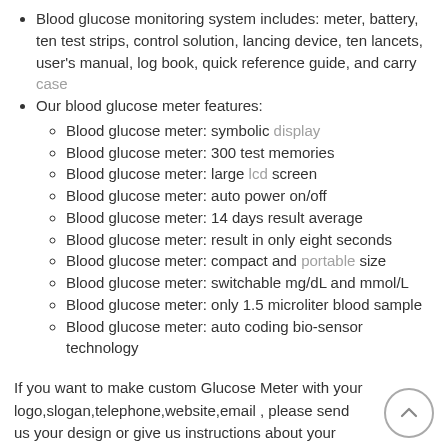Blood glucose monitoring system includes: meter, battery, ten test strips, control solution, lancing device, ten lancets, user's manual, log book, quick reference guide, and carry case
Our blood glucose meter features:
Blood glucose meter: symbolic display
Blood glucose meter: 300 test memories
Blood glucose meter: large lcd screen
Blood glucose meter: auto power on/off
Blood glucose meter: 14 days result average
Blood glucose meter: result in only eight seconds
Blood glucose meter: compact and portable size
Blood glucose meter: switchable mg/dL and mmol/L
Blood glucose meter: only 1.5 microliter blood sample
Blood glucose meter: auto coding bio-sensor technology
If you want to make custom Glucose Meter with your logo,slogan,telephone,website,email , please send us your design or give us instructions about your